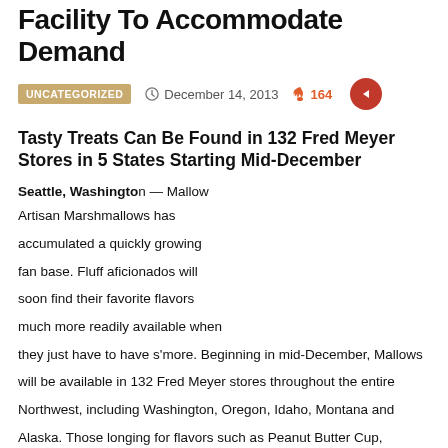Facility To Accommodate Demand
UNCATEGORIZED   December 14, 2013   164
Tasty Treats Can Be Found in 132 Fred Meyer Stores in 5 States Starting Mid-December
Seattle, Washington — Mallow Artisan Marshmallows has accumulated a quickly growing fan base. Fluff aficionados will soon find their favorite flavors much more readily available when they just have to have s'more. Beginning in mid-December, Mallows will be available in 132 Fred Meyer stores throughout the entire Northwest, including Washington, Oregon, Idaho, Montana and Alaska. Those longing for flavors such as Peanut Butter Cup, Toasted Coconut, Achocolypse and others, will find them on the